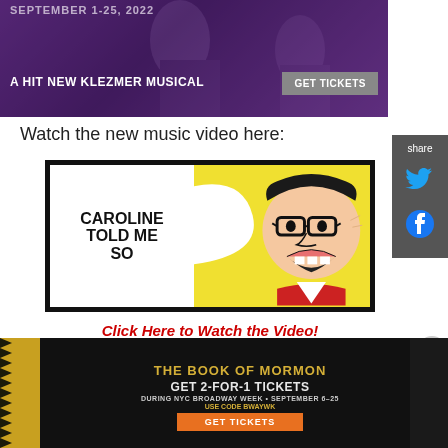[Figure (photo): Top banner ad for a Klezmer musical showing text 'SEPTEMBER 1-25, 2022', 'A HIT NEW KLEZMER MUSICAL', and a 'GET TICKETS' button, purple-toned theatrical imagery]
Watch the new music video here:
[Figure (illustration): Music video thumbnail for 'Caroline Told Me So' — comic/pop-art style image showing speech bubble with text and a cartoon man with glasses yelling, yellow background]
Click Here to Watch the Video!
First Look at Tiki Barber in
[Figure (other): Advertisement for The Book of Mormon: GET 2-FOR-1 TICKETS DURING NYC BROADWAY WEEK • SEPTEMBER 6–25 USE CODE BWAYWK, GET TICKETS button, gold and black color scheme]